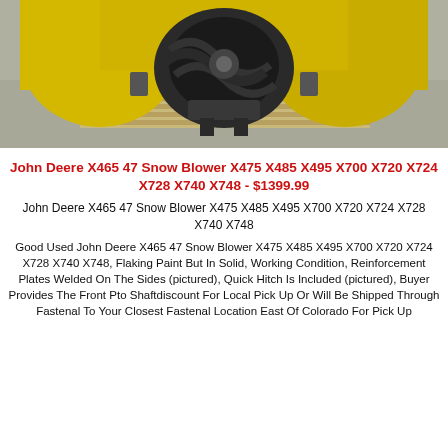[Figure (photo): Photo of a John Deere yellow snow blower attachment, viewed from the front, sitting on a wooden pallet on a gravel surface. The yellow housing and black mechanical components (auger/impeller) are visible.]
John Deere X465 47 Snow Blower X475 X485 X495 X700 X720 X724 X728 X740 X748 - $1399.99
John Deere X465 47 Snow Blower X475 X485 X495 X700 X720 X724 X728 X740 X748
Good Used John Deere X465 47 Snow Blower X475 X485 X495 X700 X720 X724 X728 X740 X748, Flaking Paint But In Solid, Working Condition, Reinforcement Plates Welded On The Sides (pictured), Quick Hitch Is Included (pictured), Buyer Provides The Front Pto Shaftdiscount For Local Pick Up Or Will Be Shipped Through Fastenal To Your Closest Fastenal Location East Of Colorado For Pick Up